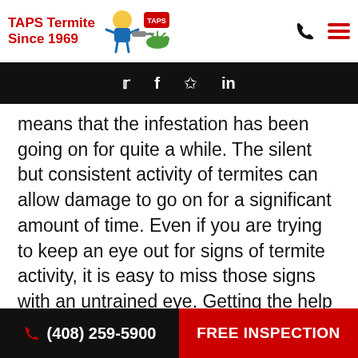TAPS Termite Since 1969
Social media icons: Twitter, Facebook, Yelp, LinkedIn
means that the infestation has been going on for quite a while. The silent but consistent activity of termites can allow damage to go on for a significant amount of time. Even if you are trying to keep an eye out for signs of termite activity, it is easy to miss those signs with an untrained eye. Getting the help of a professional will ensure that you do not allow termite activity to go on unabated. A free, professional termite inspection is a quick way to find out for sure if there is
(408) 259-5900   FREE INSPECTION